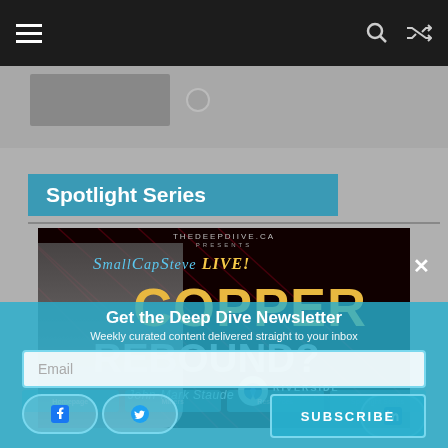Navigation bar with hamburger menu, search and shuffle icons
Spotlight Series
[Figure (screenshot): Video thumbnail for SmallCapSteve LIVE! featuring COPPER REBOUND? with John-Mark Staude and Riverside Resources Inc. on TheDeepDive.ca]
Get the Deep Dive Newsletter
Weekly curated content delivered straight to your inbox
Email
SUBSCRIBE